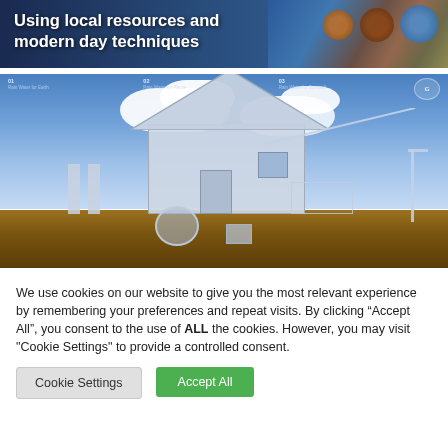[Figure (photo): Banner image with text overlay: 'Using local resources and modern day techniques' on a dark blue background with decorative colored bowls on the right.]
Using local resources and modern day techniques
[Figure (infographic): Rainwater harvesting infographic showing a house cross-section with three systems labeled: 01 Rain Water for Earth, 02 Rain Water for Reuse, 03 Rain Water for Borewell. Shows underground tanks, pipes, and a street lamp against a cloudy sky background.]
We use cookies on our website to give you the most relevant experience by remembering your preferences and repeat visits. By clicking “Accept All”, you consent to the use of ALL the cookies. However, you may visit "Cookie Settings" to provide a controlled consent.
Cookie Settings
Accept All